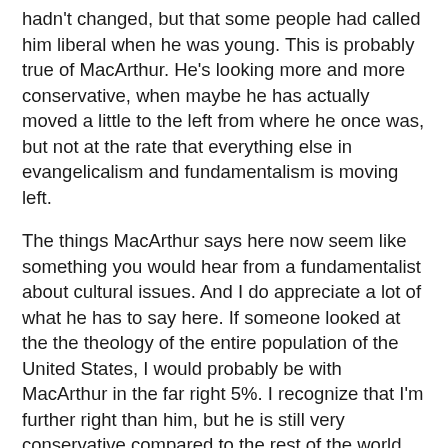hadn't changed, but that some people had called him liberal when he was young. This is probably true of MacArthur. He's looking more and more conservative, when maybe he has actually moved a little to the left from where he once was, but not at the rate that everything else in evangelicalism and fundamentalism is moving left.
The things MacArthur says here now seem like something you would hear from a fundamentalist about cultural issues. And I do appreciate a lot of what he has to say here. If someone looked at the the theology of the entire population of the United States, I would probably be with MacArthur in the far right 5%. I recognize that I'm further right than him, but he is still very conservative compared to the rest of the world. Nevertheless, I believe that from his very influential position, MacArthur has been the cause and still causes the very things that he is criticizing in these videos. Peter Masters, another reformed pastor and theologian, made the same observation in a recent article in his Sword and Trowel (my review). Masters himself already said the things MacArthur is now saying, and the parallel with Arminianism with which he targets MacArthur himself.